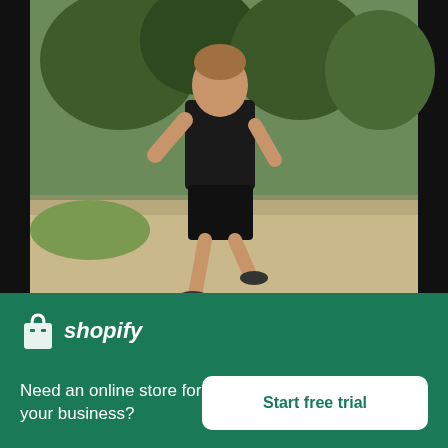[Figure (photo): Man in black t-shirt and shorts running through a park with green trees in the background]
Man In Black Out For A Run Through Green Trees
High resolution download ↓
[Figure (logo): Shopify logo with bag icon and italic shopify text]
Need an online store for your business?
Start free trial